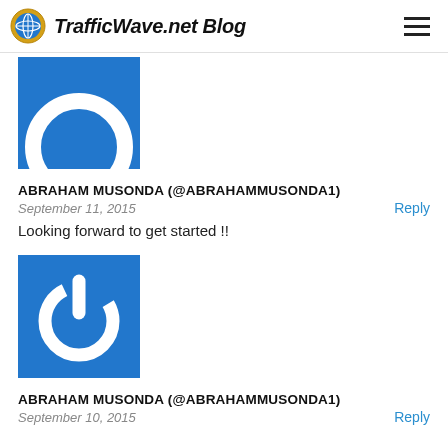TrafficWave.net Blog
[Figure (illustration): Blue square avatar with white power/circle icon, partially cropped at top]
ABRAHAM MUSONDA (@ABRAHAMMUSONDA1)
September 11, 2015
Reply
Looking forward to get started !!
[Figure (illustration): Blue square avatar with white power/on-off symbol icon]
ABRAHAM MUSONDA (@ABRAHAMMUSONDA1)
September 10, 2015
Reply